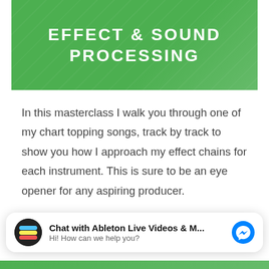[Figure (illustration): Green banner with bold white text reading EFFECT & SOUND PROCESSING, with decorative diagonal pattern overlay]
In this masterclass I walk you through one of my chart topping songs, track by track to show you how I approach my effect chains for each instrument. This is sure to be an eye opener for any aspiring producer.
[Figure (other): Orange 'Learn More' button]
Chat with Ableton Live Videos & M...
Hi! How can we help you?